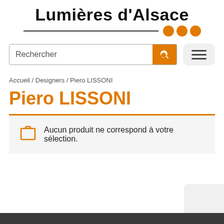Lumières d'Alsace
[Figure (screenshot): Search box with orange search button and hamburger menu button]
Accueil / Designers / Piero LISSONI
Piero LISSONI
Aucun produit ne correspond à votre sélection.